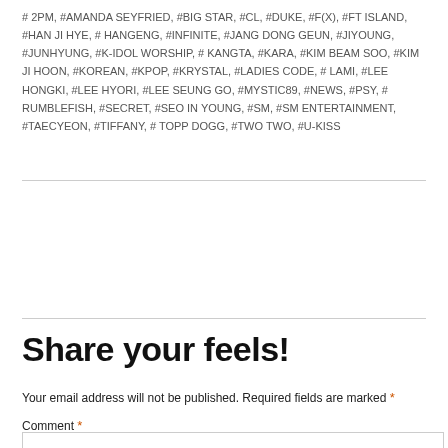# 2PM, #AMANDA SEYFRIED, #BIG STAR, #CL, #DUKE, #F(X), #FT ISLAND, #HAN JI HYE, # HANGENG, #INFINITE, #JANG DONG GEUN, #JIYOUNG, #JUNHYUNG, #K-IDOL WORSHIP, # KANGTA, #KARA, #KIM BEAM SOO, #KIM JI HOON, #KOREAN, #KPOP, #KRYSTAL, #LADIES CODE, # LAMI, #LEE HONGKI, #LEE HYORI, #LEE SEUNG GO, #MYSTIC89, #NEWS, #PSY, # RUMBLEFISH, #SECRET, #SEO IN YOUNG, #SM, #SM ENTERTAINMENT, #TAECYEON, #TIFFANY, # TOPP DOGG, #TWO TWO, #U-KISS
Share your feels!
Your email address will not be published. Required fields are marked *
Comment *
Privacy & Cookies: This site uses cookies. By continuing to use this website, you agree to their use. To find out more, including how to control cookies, see here: Cookie Policy
Close and accept